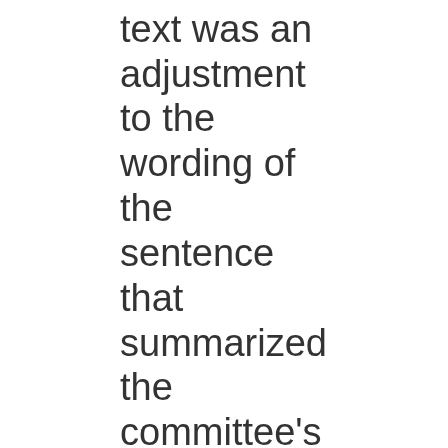statement text was an adjustment to the wording of the sentence that summarized the committee's inflation expectations. The September press release